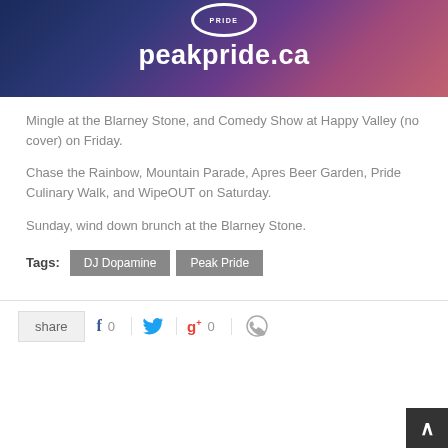[Figure (photo): Peak Pride event banner with colorful geometric background and peakpride.ca website text in white, with circular badge at top]
Mingle at the Blarney Stone, and Comedy Show at Happy Valley (no cover) on Friday.
Chase the Rainbow, Mountain Parade, Apres Beer Garden, Pride Culinary Walk, and WipeOUT on Saturday.
Sunday, wind down brunch at the Blarney Stone.
Tags: DJ Dopamine  Peak Pride
share   0   0